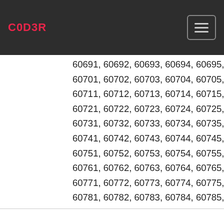C0D3R
60691, 60692, 60693, 60694, 60695, 60696, 60...
60701, 60702, 60703, 60704, 60705, 60706, 6...
60711, 60712, 60713, 60714, 60715, 60716, 60717,...
60721, 60722, 60723, 60724, 60725, 60726, 607...
60731, 60732, 60733, 60734, 60735, 60736, 607...
60741, 60742, 60743, 60744, 60745, 60746, 607...
60751, 60752, 60753, 60754, 60755, 60756, 607...
60761, 60762, 60763, 60764, 60765, 60766, 607...
60771, 60772, 60773, 60774, 60775, 60776, 607...
60781, 60782, 60783, 60784, 60785, 60786, 60...
64140, 64141, 64142, 64143, 64145, 64146, 64147,...
64152, 64153, 64154, 64155, 64156, 64157, 64158,...
64163, 64164, 64165, 64166, 64167, 64168, 64169,...
64174, 64175, 64176, 64177, 64178, 64179, 64180,...
64185, 64186, 64187, 64188, 64189, 64190, 64191,...